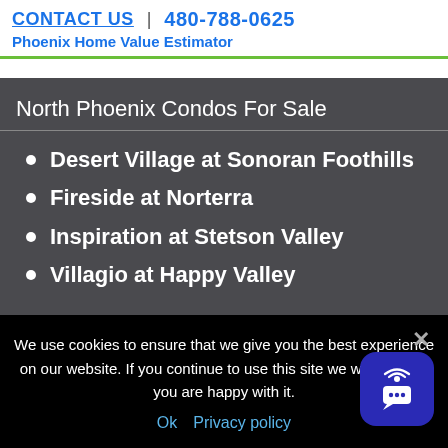CONTACT US | 480-788-0625
Phoenix Home Value Estimator
North Phoenix Condos For Sale
Desert Village at Sonoran Foothills
Fireside at Norterra
Inspiration at Stetson Valley
Villagio at Happy Valley
South Mountain Condos For Sale
Cachet at Laveen (partial, cut off)
We use cookies to ensure that we give you the best experience on our website. If you continue to use this site we will assume you are happy with it.
Ok   Privacy policy